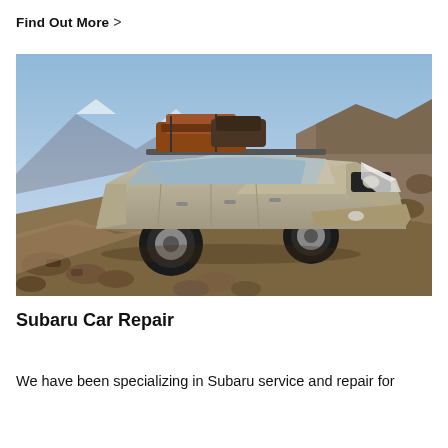Find Out More  >
[Figure (photo): A silver Subaru Outback SUV with roof-mounted luggage driving on a rocky dirt trail with mountains and blue sky in the background.]
Subaru Car Repair
We have been specializing in Subaru service and repair for